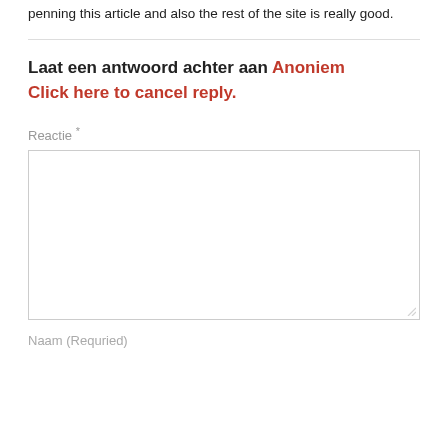penning this article and also the rest of the site is really good.
Laat een antwoord achter aan Anoniem
Click here to cancel reply.
Reactie *
Naam (Requried)